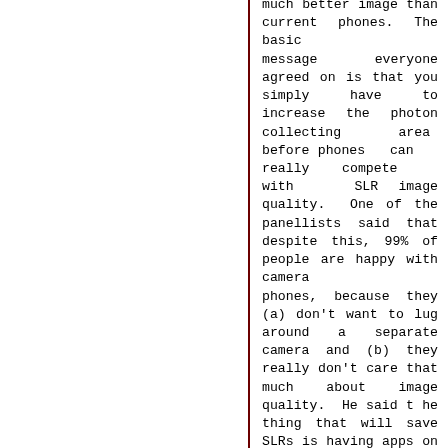much better image than current phones. The basic message everyone agreed on is that you simply have to increase the photon collecting area before phones can really compete with SLR image quality. One of the panellists said that despite this, 99% of people are happy with camera phones, because they (a) don't want to lug around a separate camera and (b) they really don't care that much about image quality. He said t he thing that will save SLRs is having apps on them. If you open them up to third party app developers, people will go nuts with the things they can do with a high